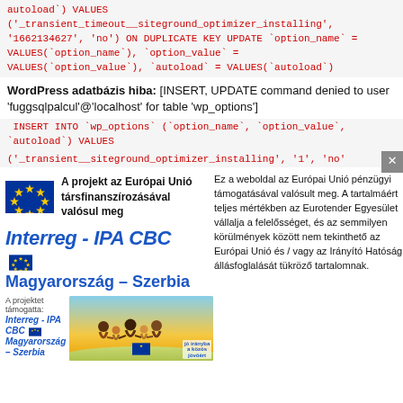autoload`) VALUES ('_transient_timeout__siteground_optimizer_installing', '1662134627', 'no') ON DUPLICATE KEY UPDATE `option_name` = VALUES(`option_name`), `option_value` = VALUES(`option_value`), `autoload` = VALUES(`autoload`)
WordPress adatbázis hiba: [INSERT, UPDATE command denied to user 'fuggsqlpalcul'@'localhost' for table 'wp_options']
INSERT INTO `wp_options` (`option_name`, `option_value`, `autoload`) VALUES ('_transient__siteground_optimizer_installing', '1', 'no...
[Figure (infographic): EU flag and Interreg IPA CBC Hungary-Serbia project banner with photo of people]
Ez a weboldal az Európai Unió pénzügyi támogatásával valósult meg. A tartalmáért teljes mértékben az Eurotender Egyesület vállalja a felelősséget, és az semmilyen körülmények között nem tekinthető az Európai Unió és / vagy az Irányító Hatóság állásfoglalását tükröző tartalomnak.